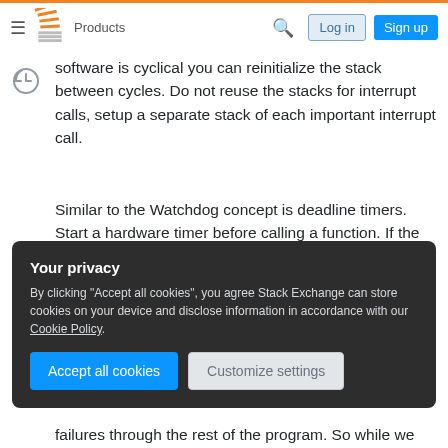≡  [StackOverflow logo]  Products  🔍  Log in  Sign up
software is cyclical you can reinitialize the stack between cycles. Do not reuse the stacks for interrupt calls, setup a separate stack of each important interrupt call.
Similar to the Watchdog concept is deadline timers. Start a hardware timer before calling a function. If the function does not return before the deadline timer interrupts then reload the stack and try again. If it still fails after 3/5 tries you need reload from ROM.
Your privacy
By clicking "Accept all cookies", you agree Stack Exchange can store cookies on your device and disclose information in accordance with our Cookie Policy.
[Accept all cookies] [Customize settings]
failures through the rest of the program. So while we